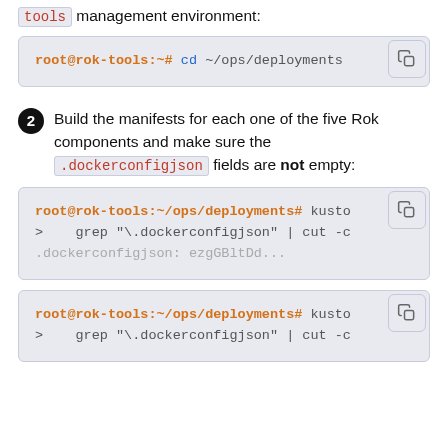tools management environment:
[Figure (screenshot): Terminal code block showing: root@rok-tools:~# cd ~/ops/deployments]
2. Build the manifests for each one of the five Rok components and make sure the .dockerconfigjson fields are not empty:
[Figure (screenshot): Terminal code block showing: root@rok-tools:~/ops/deployments# kusto
>    grep "\.dockerconfigjson" | cut -c
.dockerconfigjson: ezgGBltDd...]
[Figure (screenshot): Terminal code block showing: root@rok-tools:~/ops/deployments# kusto
>    grep "\.dockerconfigjson" | cut -c]